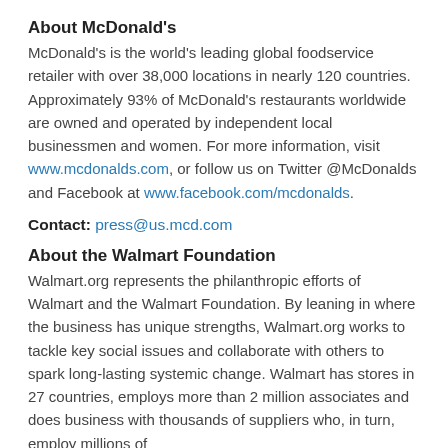About McDonald's
McDonald's is the world's leading global foodservice retailer with over 38,000 locations in nearly 120 countries. Approximately 93% of McDonald's restaurants worldwide are owned and operated by independent local businessmen and women. For more information, visit www.mcdonalds.com, or follow us on Twitter @McDonalds and Facebook at www.facebook.com/mcdonalds.
Contact: press@us.mcd.com
About the Walmart Foundation
Walmart.org represents the philanthropic efforts of Walmart and the Walmart Foundation. By leaning in where the business has unique strengths, Walmart.org works to tackle key social issues and collaborate with others to spark long-lasting systemic change. Walmart has stores in 27 countries, employs more than 2 million associates and does business with thousands of suppliers who, in turn, employ millions of